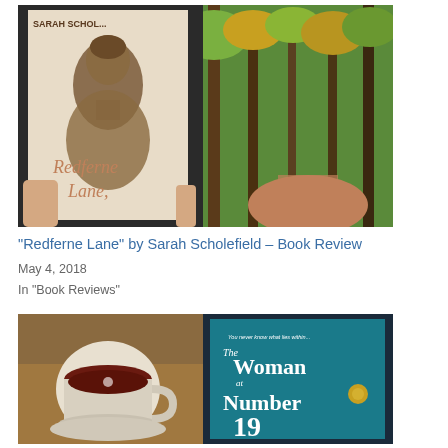[Figure (photo): A hand holding a tablet/e-reader displaying the book cover of 'Redferne Lane' by Sarah Scholefield — showing a woman's silhouette with an autumnal forest background. Behind the device is a real forest path with green and amber trees.]
“Redferne Lane” by Sarah Scholefield – Book Review
May 4, 2018
In "Book Reviews"
[Figure (photo): A cup of tea beside a tablet/e-reader showing the cover of 'The Woman at Number 19' — the book cover features teal/blue tones and the text 'You never know what lies within...' at the top, along with a door knocker.]